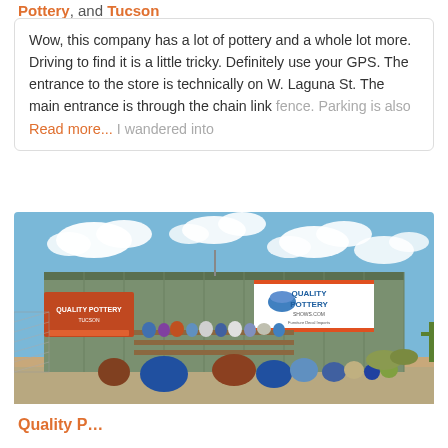Pottery, and Tucson
Wow, this company has a lot of pottery and a whole lot more. Driving to find it is a little tricky. Definitely use your GPS. The entrance to the store is technically on W. Laguna St. The main entrance is through the chain link fence. Parking is also... Read more...
[Figure (photo): Exterior photo of Quality Pottery store, a large green metal warehouse building with OPEN signs, pottery displayed outside, desert plants and cacti, blue sky with clouds]
Quality P...